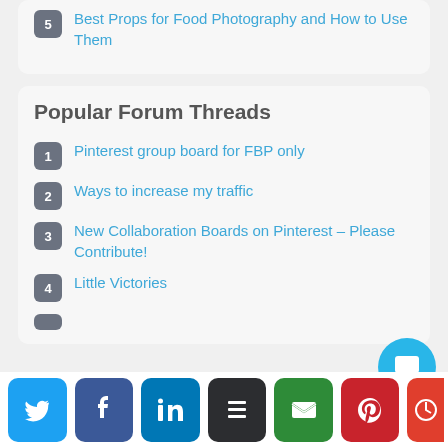5 Best Props for Food Photography and How to Use Them
Popular Forum Threads
1 Pinterest group board for FBP only
2 Ways to increase my traffic
3 New Collaboration Boards on Pinterest – Please Contribute!
4 Little Victories